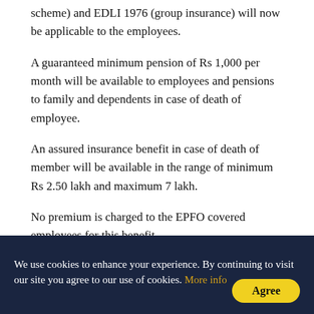scheme) and EDLI 1976 (group insurance) will now be applicable to the employees.
A guaranteed minimum pension of Rs 1,000 per month will be available to employees and pensions to family and dependents in case of death of employee.
An assured insurance benefit in case of death of member will be available in the range of minimum Rs 2.50 lakh and maximum 7 lakh.
No premium is charged to the EPFO covered employees for this benefit.
The ministry informed that since 1952-53, Air India
We use cookies to enhance your experience. By continuing to visit our site you agree to our use of cookies. More info